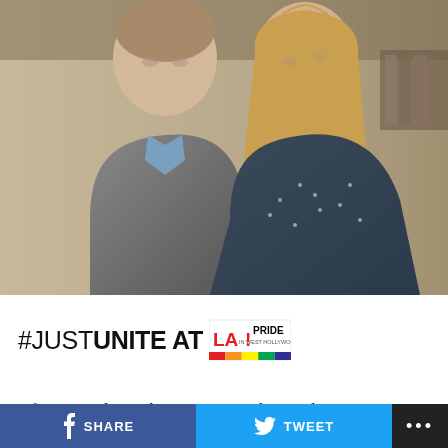[Figure (photo): Two people posing together indoors — a man in a grey blazer and blue shirt on the left, and a woman with long blonde hair wearing a dark floral dress on the right. They are smiling and standing close together.]
#JUSTUNITE AT LA! PRIDE IN WEST HOLLYWOOD presented by verizon
After several tumultuous years and struggles to secure proper funding for the annual LA Pride Parade and